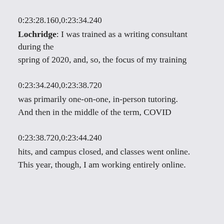0:23:28.160,0:23:34.240
Lochridge: I was trained as a writing consultant during the spring of 2020, and, so, the focus of my training
0:23:34.240,0:23:38.720
was primarily one-on-one, in-person tutoring. And then in the middle of the term, COVID
0:23:38.720,0:23:44.240
hits, and campus closed, and classes went online. This year, though, I am working entirely online.